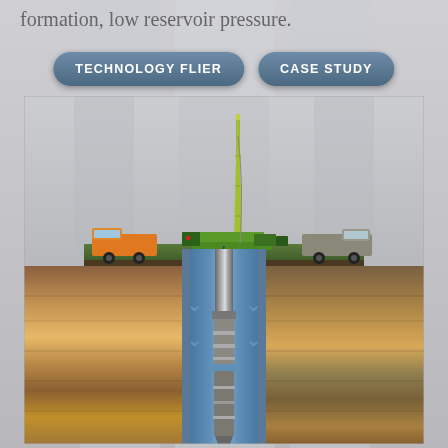formation, low reservoir pressure.
[Figure (infographic): Two rounded pill-shaped buttons labeled 'TECHNOLOGY FLIER' and 'CASE STUDY' in white text on a steel-blue gradient background.]
[Figure (engineering-diagram): Cross-section diagram of an oil well operation. Above ground: a green drilling rig with a tall mast, flanked by an orange truck on the left and a gray vehicle on the right, all on a green ground surface. Below ground: a cutaway showing layered rock strata (browns, tans, oranges) with a vertical borehole in the center. Inside the borehole (blue annular region) are flow arrows (chevrons) pointing down on the sides and up in the center, with well tools/equipment (drill string, BHA) visible inside the borehole descending into the formation.]